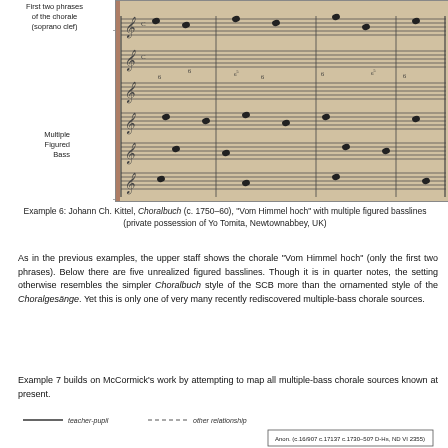[Figure (photo): Photograph of a handwritten manuscript page showing multiple staves of music notation with figured bass numbers, annotated with labels: 'First two phrases of the chorale (soprano clef)' and 'Multiple Figured Bass', connected by a dashed bracket.]
Example 6: Johann Ch. Kittel, Choralbuch (c. 1750–60), "Vom Himmel hoch" with multiple figured basslines (private possession of Yo Tomita, Newtownabbey, UK)
As in the previous examples, the upper staff shows the chorale "Vom Himmel hoch" (only the first two phrases). Below there are five unrealized figured basslines. Though it is in quarter notes, the setting otherwise resembles the simpler Choralbuch style of the SCB more than the ornamented style of the Choralgesänge. Yet this is only one of very many recently rediscovered multiple-bass chorale sources.
Example 7 builds on McCormick's work by attempting to map all multiple-bass chorale sources known at present.
[Figure (other): Partial legend and beginning of a network/relationship diagram showing 'teacher-pupil' (solid line) and 'other relationship' (dashed line) labels, and a box labeled 'Anon. (c.16/907 c.17137 c.1730-50? D-Hs, ND VI 2355)']